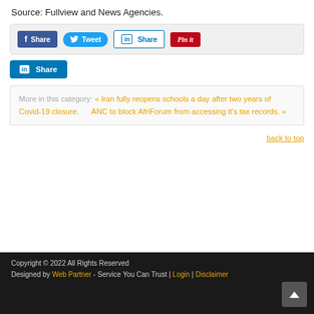Source: Fullview and News Agencies.
[Figure (screenshot): Social share buttons row: Facebook Share (dark blue), Tweet (light blue rounded), LinkedIn Share (white/blue outline), Pinterest Pin it (dark red)]
[Figure (screenshot): LinkedIn Share button (blue filled)]
More in this category:   « Iran fully reopens schools a day after two years of Covid-19 closure.      ANC to block AfriForum from accessing it's tax records. »
back to top
Copyright © 2022 All Rights Reserved
Designed by Web Partner - Service You Can Trust | Login | Disclaimer